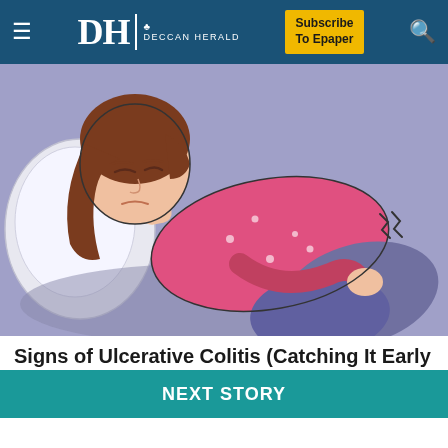DH DECCAN HERALD | Subscribe To Epaper
[Figure (illustration): Cartoon illustration of a woman lying on her side on a pillow, wearing a pink top, holding her abdomen in pain with zigzag lines indicating pain/discomfort near her stomach area. Background is lavender/purple.]
Signs of Ulcerative Colitis (Catching It Early Matters)
Ulcerative Colitis | Search Ads
NEXT STORY